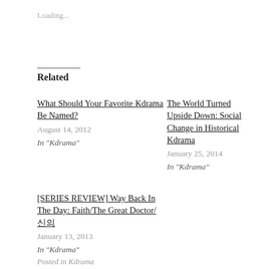Loading...
Related
What Should Your Favorite Kdrama Be Named?
August 14, 2012
In "Kdrama"
The World Turned Upside Down: Social Change in Historical Kdrama
January 25, 2014
In "Kdrama"
[SERIES REVIEW] Way Back In The Day: Faith/The Great Doctor/신의
January 13, 2013
In "Kdrama"
Posted in Kdrama